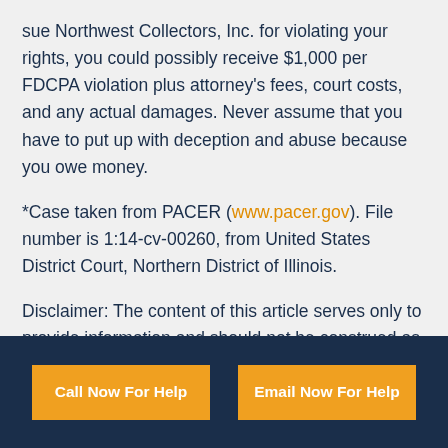sue Northwest Collectors, Inc. for violating your rights, you could possibly receive $1,000 per FDCPA violation plus attorney's fees, court costs, and any actual damages. Never assume that you have to put up with deception and abuse because you owe money.
*Case taken from PACER (www.pacer.gov). File number is 1:14-cv-00260, from United States District Court, Northern District of Illinois.
Disclaimer: The content of this article serves only to provide information and should not be construed as legal advice. If
Call Now For Help | Email Now For Help